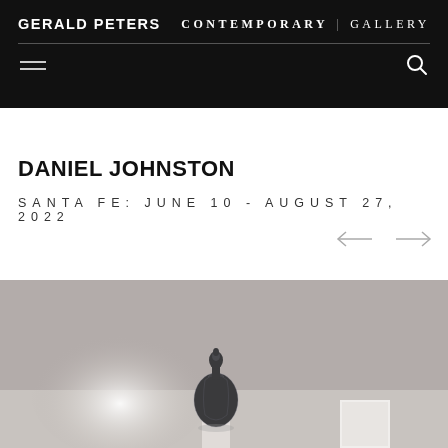GERALD PETERS | CONTEMPORARY | GALLERY
DANIEL JOHNSTON
SANTA FE: JUNE 10 - AUGUST 27, 2022
[Figure (photo): Gallery installation photo showing a dark ceramic sculpture on a pedestal in a white gallery space, with another white pedestal/artwork visible to the right.]